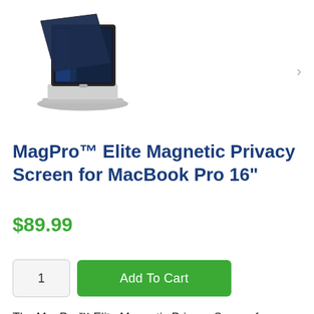[Figure (photo): Product photo of MagPro Elite Magnetic Privacy Screen for MacBook Pro 16 inch — privacy filter shown at an angle attached to a MacBook Pro laptop]
MagPro™ Elite Magnetic Privacy Screen for MacBook Pro 16"
$89.99
1   Add To Cart
The MagPro™ Elite Magnetic Privacy Screen for MacBook Pro 16" seamlessly attaches to the laptop's magnetic frame, allowing the MacBook Pro to close completely and enter sleep mode — no need to remove. Screen protects monitor from scratches